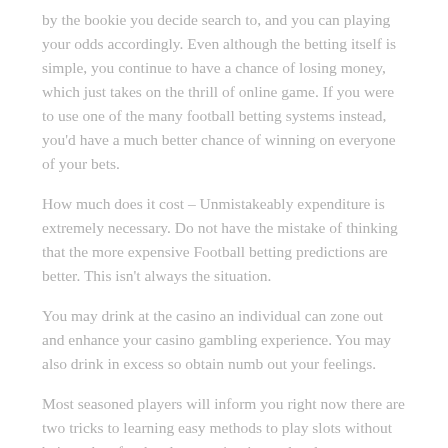by the bookie you decide search to, and you can playing your odds accordingly. Even although the betting itself is simple, you continue to have a chance of losing money, which just takes on the thrill of online game. If you were to use one of the many football betting systems instead, you'd have a much better chance of winning on everyone of your bets.
How much does it cost – Unmistakeably expenditure is extremely necessary. Do not have the mistake of thinking that the more expensive Football betting predictions are better. This isn't always the situation.
You may drink at the casino an individual can zone out and enhance your casino gambling experience. You may also drink in excess so obtain numb out your feelings.
Most seasoned players will inform you right now there are two tricks to learning easy methods to play slots without being taken for the cleaners. 1st tip can be always to always manage your moola. When you are dropping coins into a unit it is usually easy